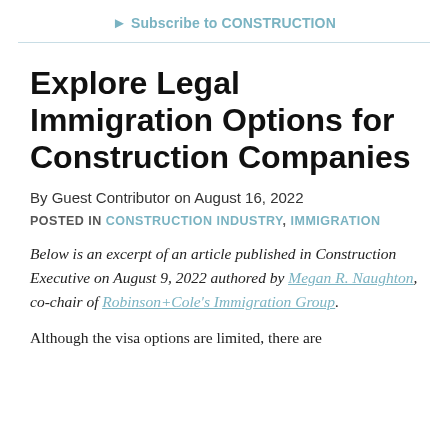Subscribe to CONSTRUCTION
Explore Legal Immigration Options for Construction Companies
By Guest Contributor on August 16, 2022
POSTED IN CONSTRUCTION INDUSTRY, IMMIGRATION
Below is an excerpt of an article published in Construction Executive on August 9, 2022 authored by Megan R. Naughton, co-chair of Robinson+Cole's Immigration Group.
Although the visa options are limited, there are